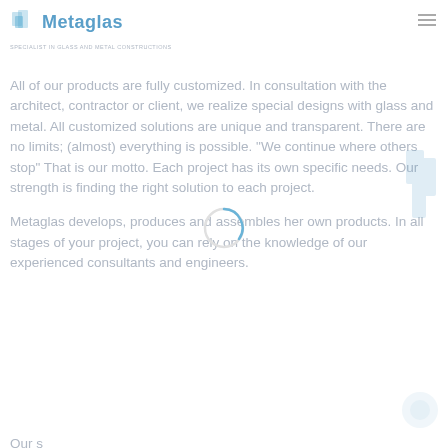Metaglas
All of our products are fully customized. In consultation with the architect, contractor or client, we realize special designs with glass and metal. All customized solutions are unique and transparent. There are no limits; (almost) everything is possible. "We continue where others stop" That is our motto. Each project has its own specific needs. Our strength is finding the right solution to each project.

Metaglas develops, produces and assembles her own products. In all stages of your project, you can rely on the knowledge of our experienced consultants and engineers.
Our s